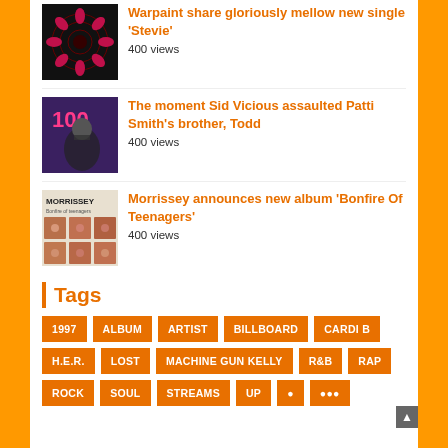Warpaint share gloriously mellow new single 'Stevie'
400 views
The moment Sid Vicious assaulted Patti Smith's brother, Todd
400 views
Morrissey announces new album 'Bonfire Of Teenagers'
400 views
Tags
1997
ALBUM
ARTIST
BILLBOARD
CARDI B
H.E.R.
LOST
MACHINE GUN KELLY
R&B
RAP
ROCK
SOUL
STREAMS
UP